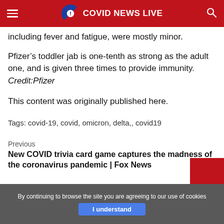COVID NEWS LIVE
including fever and fatigue, were mostly minor.
Pfizer’s toddler jab is one-tenth as strong as the adult one, and is given three times to provide immunity. Credit:Pfizer
This content was originally published here.
Tags: covid-19, covid, omicron, delta,, covid19
Previous
New COVID trivia card game captures the madness of the coronavirus pandemic | Fox News
Next
The start of a summer wave: Dutch coronavirus cases increase b
By continuing to browse the site you are agreeing to our use of cookies